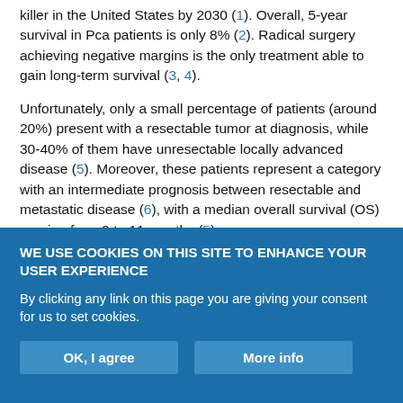killer in the United States by 2030 (1). Overall, 5-year survival in Pca patients is only 8% (2). Radical surgery achieving negative margins is the only treatment able to gain long-term survival (3, 4).
Unfortunately, only a small percentage of patients (around 20%) present with a resectable tumor at diagnosis, while 30-40% of them have unresectable locally advanced disease (5). Moreover, these patients represent a category with an intermediate prognosis between resectable and metastatic disease (6), with a median overall survival (OS) ranging from 9 to 11 months (5).
Nowadays, a therapeutic standard approach for Pca is missing and
WE USE COOKIES ON THIS SITE TO ENHANCE YOUR USER EXPERIENCE
By clicking any link on this page you are giving your consent for us to set cookies.